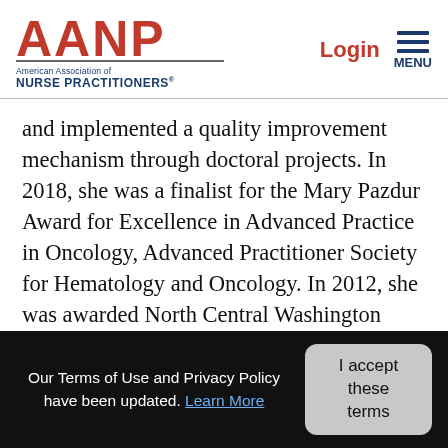AANP - American Association of NURSE PRACTITIONERS | Login | MENU
and implemented a quality improvement mechanism through doctoral projects. In 2018, she was a finalist for the Mary Pazdur Award for Excellence in Advanced Practice in Oncology, Advanced Practitioner Society for Hematology and Oncology. In 2012, she was awarded North Central Washington Nurse of the Year for Advancing and Leading the Profession.
Oncology SPC Forum
Our Terms of Use and Privacy Policy have been updated. Learn More
I accept these terms